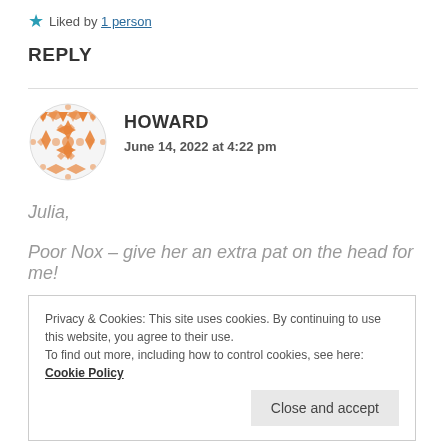★ Liked by 1 person
REPLY
[Figure (illustration): Circular orange decorative avatar icon with geometric pattern]
HOWARD
June 14, 2022 at 4:22 pm
Julia,
Poor Nox – give her an extra pat on the head for me!
Privacy & Cookies: This site uses cookies. By continuing to use this website, you agree to their use.
To find out more, including how to control cookies, see here: Cookie Policy
Close and accept